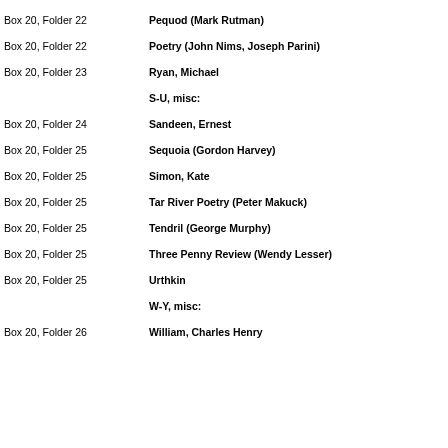Box 20, Folder 22    Pequod (Mark Rutman)
Box 20, Folder 22    Poetry (John Nims, Joseph Parini)
Box 20, Folder 23    Ryan, Michael
S-U, misc:
Box 20, Folder 24    Sandeen, Ernest
Box 20, Folder 25    Sequoia (Gordon Harvey)
Box 20, Folder 25    Simon, Kate
Box 20, Folder 25    Tar River Poetry (Peter Makuck)
Box 20, Folder 25    Tendril (George Murphy)
Box 20, Folder 25    Three Penny Review (Wendy Lesser)
Box 20, Folder 25    Urthkin
W-Y, misc:
Box 20, Folder 26    William, Charles Henry